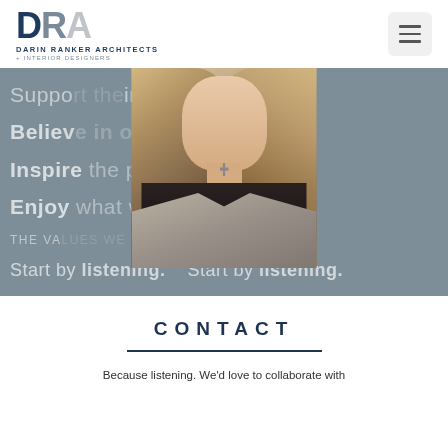DRA DARIN RANKER ARCHITECTS + INTERIOR DESIGNERS
[Figure (photo): Portrait photo of a woman with long wavy highlighted brown hair, wearing a black top and grey blazer with a cross necklace, overlaid on a grey banner with motivational text]
Support the team. Believe in our work. Inspire the process. Enjoy what we do. THE VALUES WE LIVE BY: Start by listening.
CONTACT
Because listening. We'd love to collaborate with